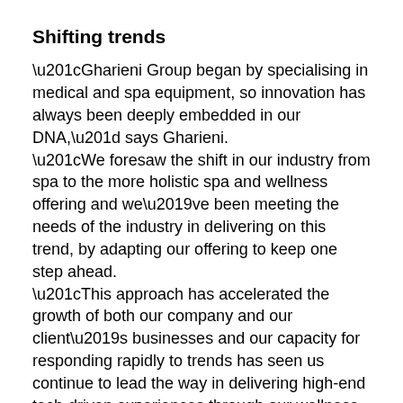Shifting trends
“Gharieni Group began by specialising in medical and spa equipment, so innovation has always been deeply embedded in our DNA,” says Gharieni.
“We foresaw the shift in our industry from spa to the more holistic spa and wellness offering and we’ve been meeting the needs of the industry in delivering on this trend, by adapting our offering to keep one step ahead.
“This approach has accelerated the growth of both our company and our client’s businesses and our capacity for responding rapidly to trends has seen us continue to lead the way in delivering high-end tech-driven experiences through our wellness concepts.